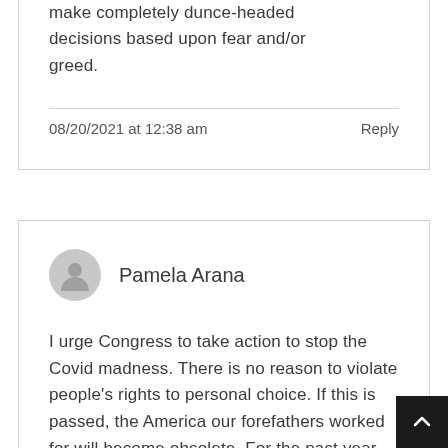make completely dunce-headed decisions based upon fear and/or greed.
08/20/2021 at 12:38 am
Reply
Pamela Arana
I urge Congress to take action to stop the Covid madness. There is no reason to violate people's rights to personal choice. If this is passed, the America our forefathers worked for will become obsolete. For the past year our country has seen more turmoil than necessary. We are the United